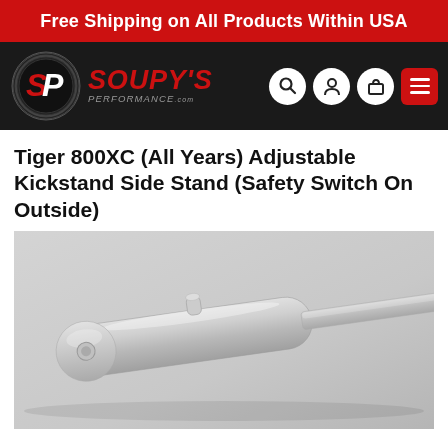Free Shipping on All Products Within USA
[Figure (logo): Soupy's Performance logo with SP circular emblem and brand name in red italic text on dark background navigation bar]
Tiger 800XC (All Years) Adjustable Kickstand Side Stand (Safety Switch On Outside)
[Figure (photo): Silver/aluminum adjustable kickstand side stand component for Tiger 800XC motorcycle, showing a cylindrical body with a small post/switch on top and a flat mounting arm, photographed on a light grey background]